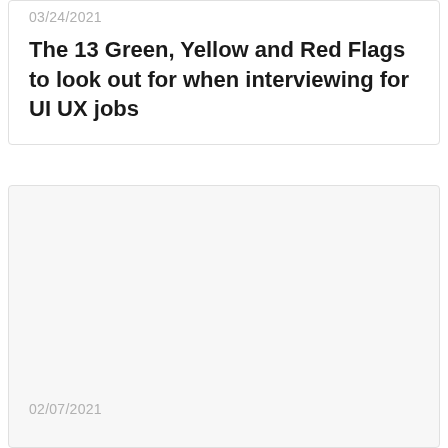03/24/2021
The 13 Green, Yellow and Red Flags to look out for when interviewing for UI UX jobs
02/07/2021